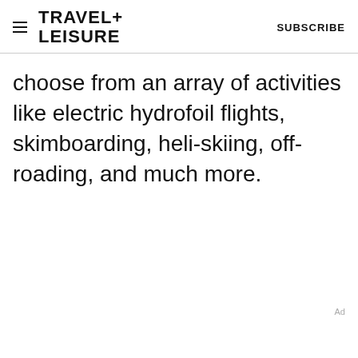TRAVEL+ LEISURE   SUBSCRIBE
choose from an array of activities like electric hydrofoil flights, skimboarding, heli-skiing, off-roading, and much more.
Ad